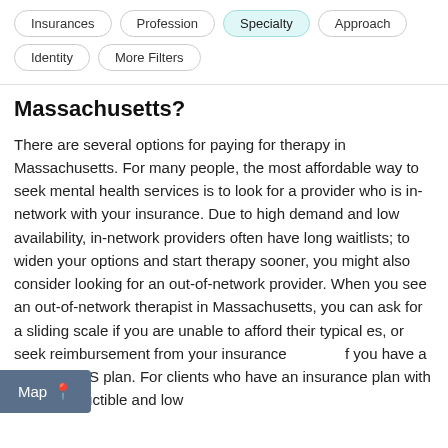[Figure (screenshot): Filter buttons row: Insurances, Profession, Specialty (active/highlighted), Approach, Identity, More Filters]
Massachusetts?
There are several options for paying for therapy in Massachusetts. For many people, the most affordable way to seek mental health services is to look for a provider who is in-network with your insurance. Due to high demand and low availability, in-network providers often have long waitlists; to widen your options and start therapy sooner, you might also consider looking for an out-of-network provider. When you see an out-of-network therapist in Massachusetts, you can ask for a sliding scale if you are unable to afford their typical [rates], or seek reimbursement from your insurance [if] you have a PPO or POS plan. For clients who have an insurance plan with a high deductible and low